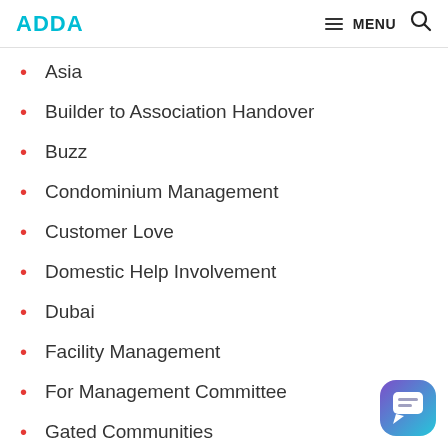ADDA   MENU
Asia
Builder to Association Handover
Buzz
Condominium Management
Customer Love
Domestic Help Involvement
Dubai
Facility Management
For Management Committee
Gated Communities
[Figure (illustration): Chat bubble icon widget in bottom right corner]